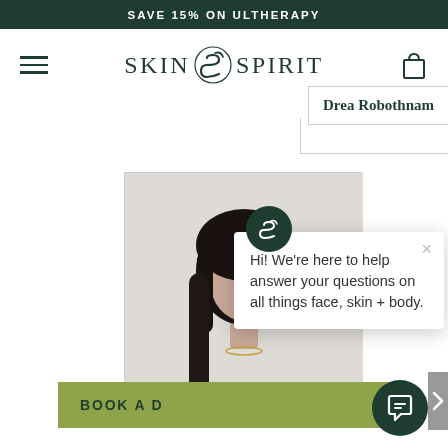SAVE 15% ON ULTHERAPY
[Figure (logo): Skin Spirit logo with stylized S icon in dark green]
Drea Robothnam
[Figure (photo): Photo of Elaine Jang, FNP-C with dark hair against light background]
Elaine Jang, FNP-C
Hi! We're here to help answer your questions on all things face, skin + body.
BOOK A D